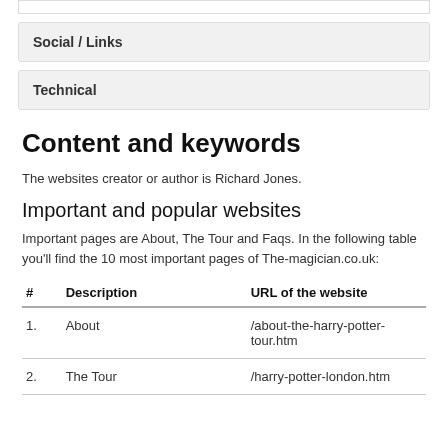Social / Links
Technical
Content and keywords
The websites creator or author is Richard Jones.
Important and popular websites
Important pages are About, The Tour and Faqs. In the following table you'll find the 10 most important pages of The-magician.co.uk:
| # | Description | URL of the website |
| --- | --- | --- |
| 1. | About | /about-the-harry-potter-tour.htm |
| 2. | The Tour | /harry-potter-london.htm |